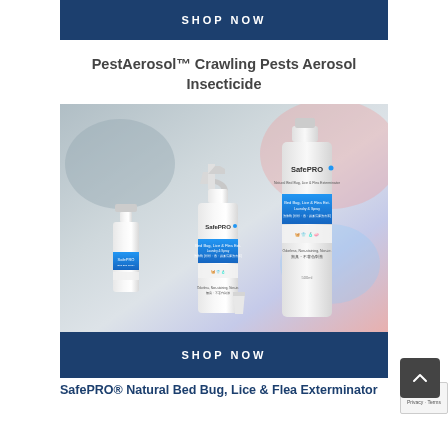SHOP NOW
PestAerosol™ Crawling Pests Aerosol Insecticide
[Figure (photo): Three SafePRO branded spray bottles of different sizes (small pump spray, medium trigger spray, large bottle) for Natural Bed Bug, Lice & Flea Exterminator Laundry & Spray, photographed against a blurred background.]
SHOP NOW
SafePRO® Natural Bed Bug, Lice & Flea Exterminator